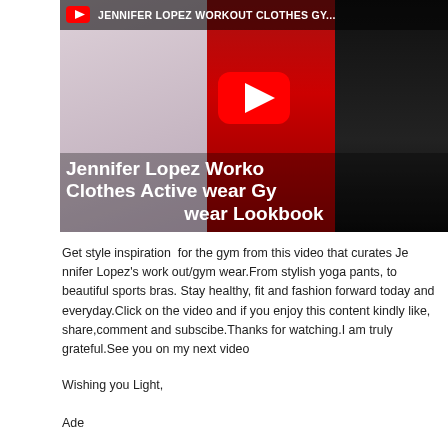[Figure (screenshot): YouTube video thumbnail for 'Jennifer Lopez Workout Clothes Activewear Gym wear Lookbook' showing three photos of women in workout clothing — left: woman in pink outfit, center: woman in red bodysuit, right: woman in black outfit. A YouTube play button is overlaid in the center. The video title 'Jennifer Lopez Workout Clothes Activewear Gym wear Lookbook' appears as white bold text overlay.]
Get style inspiration  for the gym from this video that curates Jennifer Lopez's work out/gym wear.From stylish yoga pants, to beautiful sports bras. Stay healthy, fit and fashion forward today and everyday.Click on the video and if you enjoy this content kindly like, share,comment and subscibe.Thanks for watching.I am truly grateful.See you on my next video
Wishing you Light,
Ade